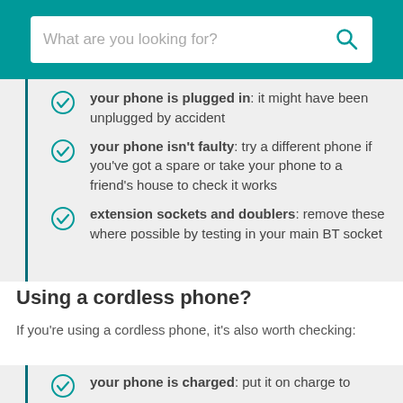What are you looking for?
your phone is plugged in: it might have been unplugged by accident
your phone isn't faulty: try a different phone if you've got a spare or take your phone to a friend's house to check it works
extension sockets and doublers: remove these where possible by testing in your main BT socket
Using a cordless phone?
If you're using a cordless phone, it's also worth checking:
your phone is charged: put it on charge to